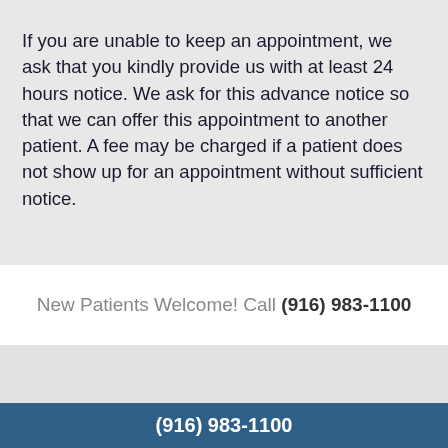If you are unable to keep an appointment, we ask that you kindly provide us with at least 24 hours notice. We ask for this advance notice so that we can offer this appointment to another patient. A fee may be charged if a patient does not show up for an appointment without sufficient notice.
New Patients Welcome! Call (916) 983-1100
(916) 983-1100